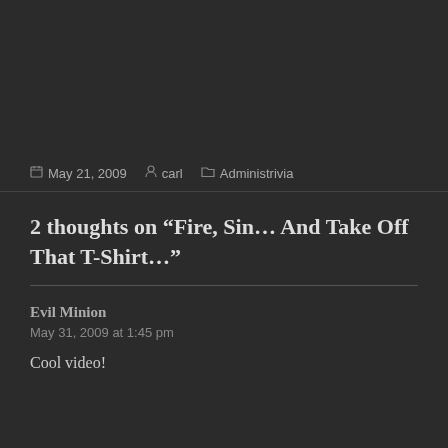May 21, 2009  carl  Administrivia
2 thoughts on “Fire, Sin… And Take Off That T-Shirt…”
Evil Minion
May 31, 2009 at 1:45 pm
Cool video!